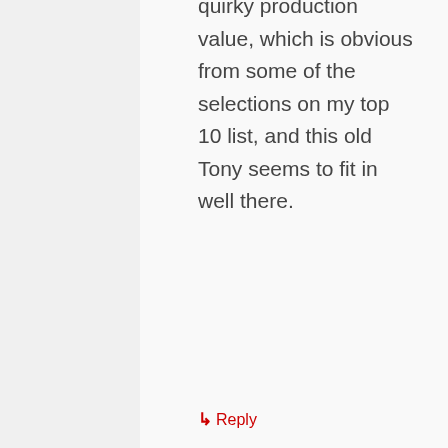quirky production value, which is obvious from some of the selections on my top 10 list, and this old Tony seems to fit in well there.
↳ Reply